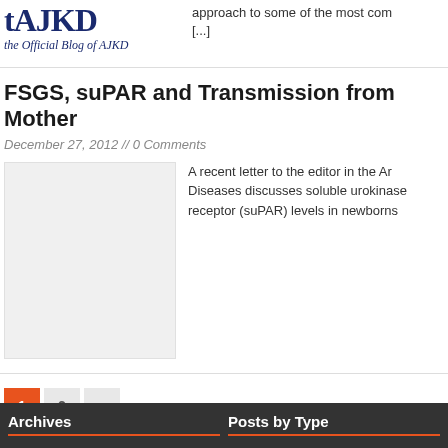[Figure (logo): AJKD blog logo with text 'the Official Blog of AJKD']
approach to some of the most com [...]
FSGS, suPAR and Transmission from Mother
December 27, 2012 // 0 Comments
[Figure (photo): Placeholder image for article]
A recent letter to the editor in the Ar Diseases discusses soluble urokinase receptor (suPAR) levels in newborns
1  2  »
Archives
Posts by Type